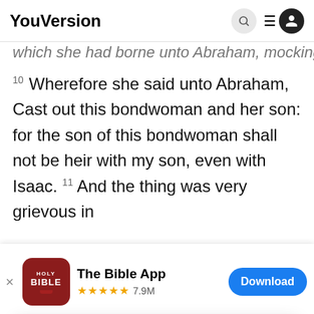YouVersion
which she had borne unto Abraham, mocking.
10 Wherefore she said unto Abraham, Cast out this bondwoman and her son: for the son of this bondwoman shall not be heir with my son, even with Isaac. 11 And the thing was very grievous in
[Figure (screenshot): App download banner for The Bible App showing HOLY BIBLE icon, 5-star rating 7.9M, and Download button]
into Abraham, Let it not be grievous in t
sight be
bondwo
YouVersion uses cookies to personalize your experience. By using our website, you accept our use of cookies as described in our Privacy Policy.
Home  Bible  Plans  Videos